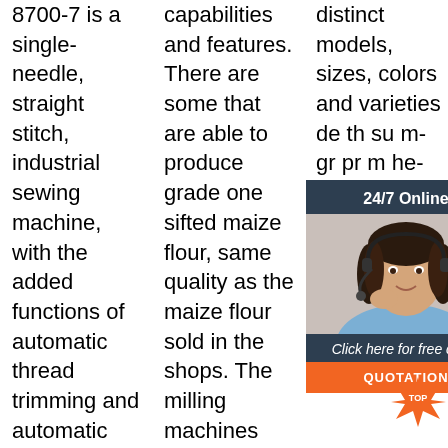8700-7 is a single-needle, straight stitch, industrial sewing machine, with the added functions of automatic thread trimming and automatic footlift. Manufactured by Juki, a world leader in
capabilities and features. There are some that are able to produce grade one sifted maize flour, same quality as the maize flour sold in the shops. The milling machines able to produce the grade one maize come
distinct models, sizes, colors and varieties de... th... su... m... gr... pr... m... he... machines, pneumatic or electrically operated full ...
[Figure (other): Customer service chat widget overlay with '24/7 Online' header, photo of woman with headset, 'Click here for free chat!' text, orange QUOTATION button, and TOP badge]